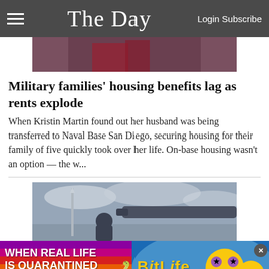The Day  Login Subscribe
[Figure (photo): Top portion of a news article photo showing partial figure in red clothing]
Military families' housing benefits lag as rents explode
When Kristin Martin found out her husband was being transferred to Naval Base San Diego, securing housing for their family of five quickly took over her life. On-base housing wasn't an option — the w...
[Figure (photo): News photo showing a man in cap near a military tank barrel with a monument visible in background and cloudy sky]
[Figure (other): BitLife advertisement banner: 'WHEN REAL LIFE IS QUARANTINED' with rainbow background and BitLife game branding with emoji characters]